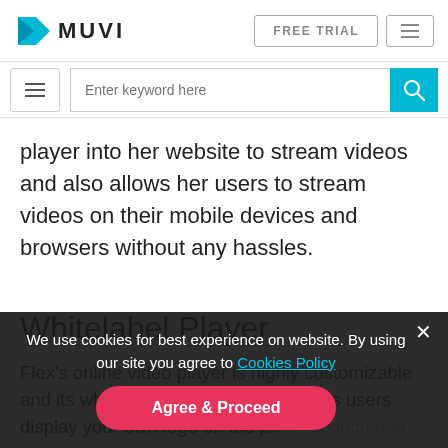MUVI | FREE TRIAL
player into her website to stream videos and also allows her users to stream videos on their mobile devices and browsers without any hassles.
Whitelabel Player
Flex's online video player is highly customizable and its white label functionality ensures users display your own logo on the player to increase brand awareness. No sign of Muvi anywhere.
We use cookies for best experience on website. By using our site you agree to Cookies Policy